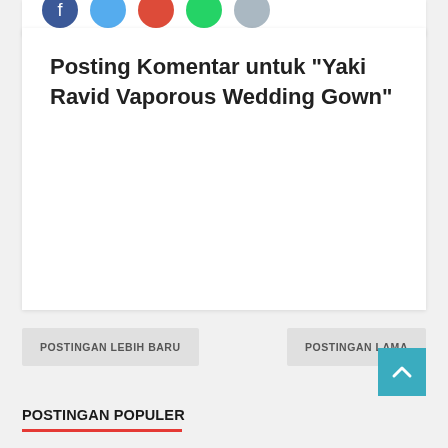[Figure (other): Row of five social sharing icon circles (blue Facebook, light blue Twitter, red Google+, green WhatsApp, grey more)]
Posting Komentar untuk "Yaki Ravid Vaporous Wedding Gown"
POSTINGAN LEBIH BARU
POSTINGAN LAMA
POSTINGAN POPULER